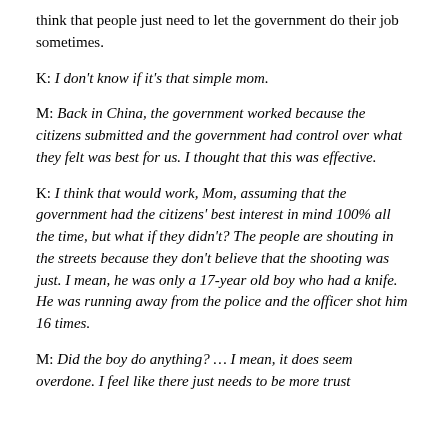think that people just need to let the government do their job sometimes.
K: I don't know if it's that simple mom.
M: Back in China, the government worked because the citizens submitted and the government had control over what they felt was best for us. I thought that this was effective.
K: I think that would work, Mom, assuming that the government had the citizens' best interest in mind 100% all the time, but what if they didn't? The people are shouting in the streets because they don't believe that the shooting was just. I mean, he was only a 17-year old boy who had a knife. He was running away from the police and the officer shot him 16 times.
M: Did the boy do anything? … I mean, it does seem overdone. I feel like there just needs to be more trust